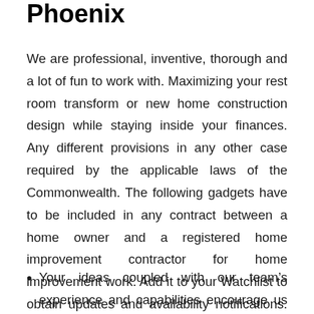Phoenix
We are professional, inventive, thorough and a lot of fun to work with. Maximizing your rest room transform or new home construction design while staying inside your finances. Any different provisions in any other case required by the applicable laws of the Commonwealth. The following gadgets have to be included in any contract between a home owner and a registered home improvement contractor for home improvement work. Add it to your Watchlist to obtain updates and availability notifications. Experience God’s design for relationships in marriage and household.
Your ideas coupled with our team’s experience and capabilities encourage us to perform above and